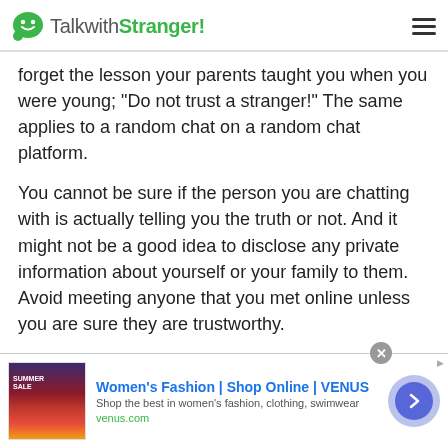TalkwithStranger!
forget the lesson your parents taught you when you were young; “Do not trust a stranger!” The same applies to a random chat on a random chat platform.
You cannot be sure if the person you are chatting with is actually telling you the truth or not. And it might not be a good idea to disclose any private information about yourself or your family to them. Avoid meeting anyone that you met online unless you are sure they are trustworthy.
Do not Be Fooled with Links
[Figure (screenshot): Advertisement banner for Women's Fashion | Shop Online | VENUS. Shows a promotional image on the left, ad title in blue, description text, venus.com URL in green, and a navigation arrow button on the right.]